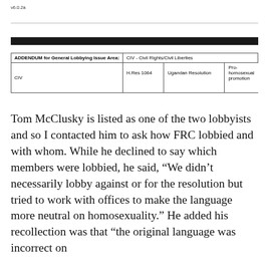v6.0.2a
| ADDENDUM for General Lobbying Issue Area: | CIV - Civil Rights/Civil Liberties |
| --- | --- |
| CIV | H.Res 1064 | Ugandan Resolution | Pro-homosexual promotion |
Tom McClusky is listed as one of the two lobbyists and so I contacted him to ask how FRC lobbied and with whom. While he declined to say which members were lobbied, he said, “We didn’t necessarily lobby against or for the resolution but tried to work with offices to make the language more neutral on homosexuality.” He added his recollection was that “the original language was incorrect on